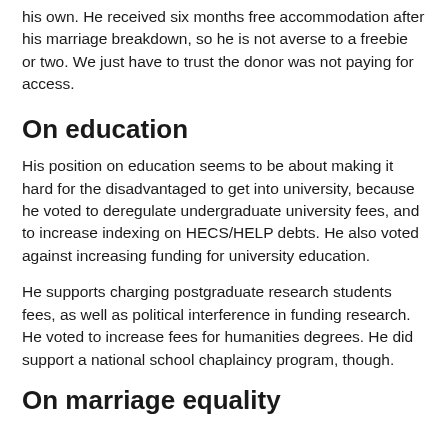his own. He received six months free accommodation after his marriage breakdown, so he is not averse to a freebie or two. We just have to trust the donor was not paying for access.
On education
His position on education seems to be about making it hard for the disadvantaged to get into university, because he voted to deregulate undergraduate university fees, and to increase indexing on HECS/HELP debts. He also voted against increasing funding for university education.
He supports charging postgraduate research students fees, as well as political interference in funding research. He voted to increase fees for humanities degrees. He did support a national school chaplaincy program, though.
On marriage equality